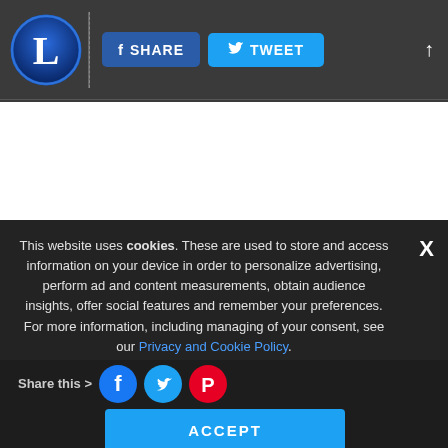SHARE | TWEET
[Figure (screenshot): White content area (advertisement or article content area, blank)]
This website uses cookies. These are used to store and access information on your device in order to personalize advertising, perform ad and content measurements, obtain audience insights, offer social features and remember your preferences. For more information, including managing of your consent, see our Privacy and Cookie Policy.
ACCEPT
Share this >